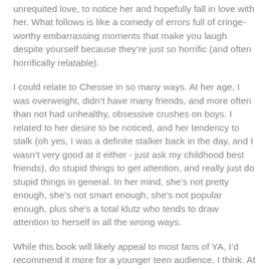unrequited love, to notice her and hopefully fall in love with her. What follows is like a comedy of errors full of cringe-worthy embarrassing moments that make you laugh despite yourself because they're just so horrific (and often horrifically relatable).
I could relate to Chessie in so many ways. At her age, I was overweight, didn't have many friends, and more often than not had unhealthy, obsessive crushes on boys. I related to her desire to be noticed, and her tendency to stalk (oh yes, I was a definite stalker back in the day, and I wasn't very good at it either - just ask my childhood best friends), do stupid things to get attention, and really just do stupid things in general. In her mind, she's not pretty enough, she's not smart enough, she's not popular enough, plus she's a total klutz who tends to draw attention to herself in all the wrong ways.
While this book will likely appeal to most fans of YA, I'd recommend it more for a younger teen audience, I think. At my age, even though I related to and sympathized with Chessie, there were many times I wanted to shake her…hard. I have the life experience she hasn't had yet and know that boys often aren't worth obsessing over and trying to change yourself to become what you think they'd like. My fourteen-year-old self would have been bffs with Chessie, and I'd likely have been right there